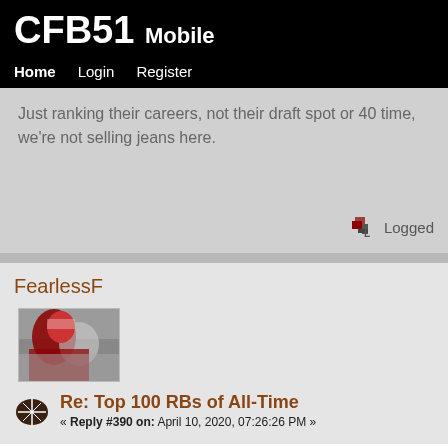CFB51 Mobile
Home  Login  Register
Just ranking their careers, not their draft spot or 40 time, we're not selling jeans here.
Logged
FearlessF
[Figure (photo): Avatar image of a football player in red uniform]
Re: Top 100 RBs of All-Time
« Reply #390 on: April 10, 2020, 07:26:26 PM »